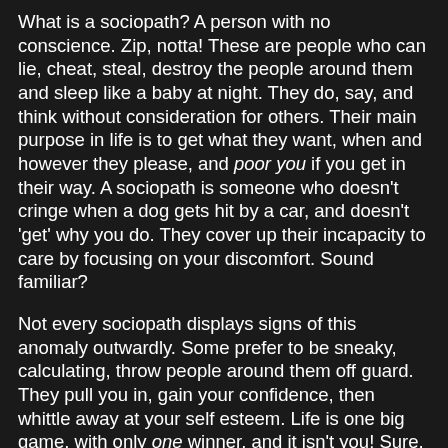What is a sociopath? A person with no conscience. Zip, notta! These are people who can lie, cheat, steal, destroy the people around them and sleep like a baby at night. They do, say, and think without consideration for others. Their main purpose in life is to get what they want, when and however they please, and poor you if you get in their way. A sociopath is someone who doesn't cringe when a dog gets hit by a car, and doesn't 'get' why you do. They cover up their incapacity to care by focusing on your discomfort. Sound familiar?
Not every sociopath displays signs of this anomaly outwardly. Some prefer to be sneaky, calculating, throw people around them off guard.  They pull you in, gain your confidence, then whittle away at your self esteem. Life is one big game, with only one winner, and it isn't you! Sure, there are notorious sociopaths--turn on American Greed! Prime examples of conscious-free specimens destroying lives around them , but what about your neighbor? Your girl/boyfriend? How do you recognize sociopath characteristics in those closest to you? Dr. Martha Stout, author of "The Sociopath Next Door", refers to conscience as a "seventh" sense, that has developed over time. Those